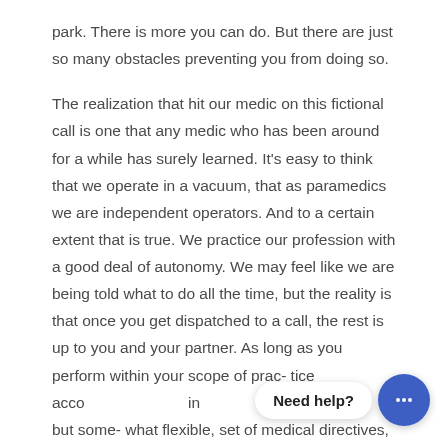park. There is more you can do. But there are just so many obstacles preventing you from doing so.
The realization that hit our medic on this fictional call is one that any medic who has been around for a while has surely learned. It's easy to think that we operate in a vacuum, that as paramedics we are independent operators. And to a certain extent that is true. We practice our profession with a good deal of autonomy. We may feel like we are being told what to do all the time, but the reality is that once you get dispatched to a call, the rest is up to you and your partner. As long as you perform within your scope of prac- tice acco [Need help?] [chat icon] in but some- what flexible, set of medical directives,